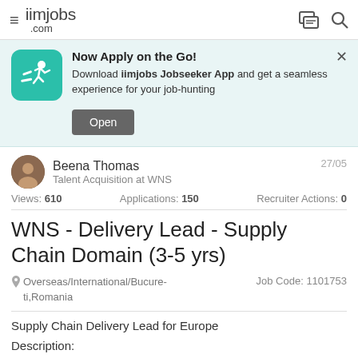iimjobs.com
[Figure (infographic): App download banner: teal icon with running person, text 'Now Apply on the Go! Download iimjobs Jobseeker App and get a seamless experience for your job-hunting', Open button, X close button]
Beena Thomas
Talent Acquisition at WNS
27/05
Views: 610   Applications: 150   Recruiter Actions: 0
WNS - Delivery Lead - Supply Chain Domain (3-5 yrs)
Overseas/International/Bucure-ti,Romania   Job Code: 1101753
Supply Chain Delivery Lead for Europe
Description: